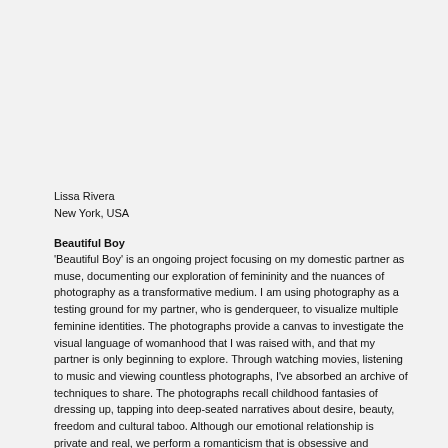Lissa Rivera
New York, USA
Beautiful Boy
'Beautiful Boy' is an ongoing project focusing on my domestic partner as muse, documenting our exploration of femininity and the nuances of photography as a transformative medium. I am using photography as a testing ground for my partner, who is genderqueer, to visualize multiple feminine identities. The photographs provide a canvas to investigate the visual language of womanhood that I was raised with, and that my partner is only beginning to explore. Through watching movies, listening to music and viewing countless photographs, I've absorbed an archive of techniques to share. The photographs recall childhood fantasies of dressing up, tapping into deep-seated narratives about desire, beauty, freedom and cultural taboo. Although our emotional relationship is private and real, we perform a romanticism that is obsessive and decadent. The fantasy of dressing up transforms the experience of being photographed into one that fuses identity-creation with image-creation.
Lissa Rivera
New York, USA